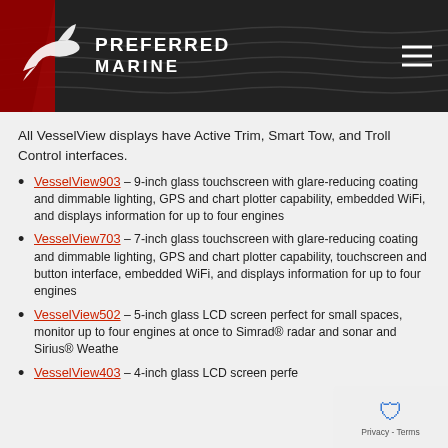Preferred Marine
All VesselView displays have Active Trim, Smart Tow, and Troll Control interfaces.
VesselView903 – 9-inch glass touchscreen with glare-reducing coating and dimmable lighting, GPS and chart plotter capability, embedded WiFi, and displays information for up to four engines
VesselView703 – 7-inch glass touchscreen with glare-reducing coating and dimmable lighting, GPS and chart plotter capability, touchscreen and button interface, embedded WiFi, and displays information for up to four engines
VesselView502 – 5-inch glass LCD screen perfect for small spaces, monitor up to four engines at once, connects to Simrad® radar and sonar and Sirius® Weather
VesselView403 – 4-inch glass LCD screen perfect for small spaces, glare-reducing coating and dimmable